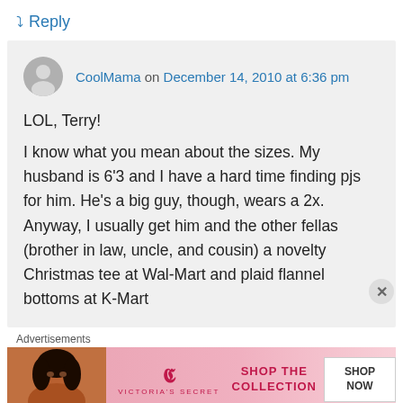↳ Reply
CoolMama on December 14, 2010 at 6:36 pm
LOL, Terry!
I know what you mean about the sizes. My husband is 6'3 and I have a hard time finding pjs for him. He's a big guy, though, wears a 2x. Anyway, I usually get him and the other fellas (brother in law, uncle, and cousin) a novelty Christmas tee at Wal-Mart and plaid flannel bottoms at K-Mart
Advertisements
[Figure (photo): Victoria's Secret advertisement banner with a woman's photo, VS logo, 'SHOP THE COLLECTION' text, and 'SHOP NOW' button]